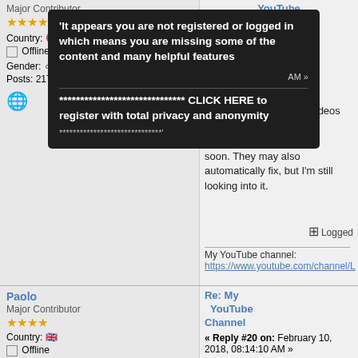Major Contributor
★★★★
Country: 🔴
☐ Offline
Gender: ♂
Posts: 2175
YouTube Channel
[Figure (screenshot): Dark popup overlay with text: 'It appears you are not registered or logged in which means you are missing some of the content and many helpful features' and '***** CLICK HERE to register with total privacy and anonymity *****']
reason, hopefully I'll fix it soon. They may also automatically fix, but I'm still looking into it.
Logged
My YouTube channel:
https://www.youtube.com/channel/L
Paolo
Major Contributor
★★★★
Country: 🇬🇧
☐ Offline
Gender: ♂
Posts: 945
Re: My YouTube Channel
« Reply #20 on: February 10, 2018, 08:14:10 AM »
Great posts.
I think hand stretching is